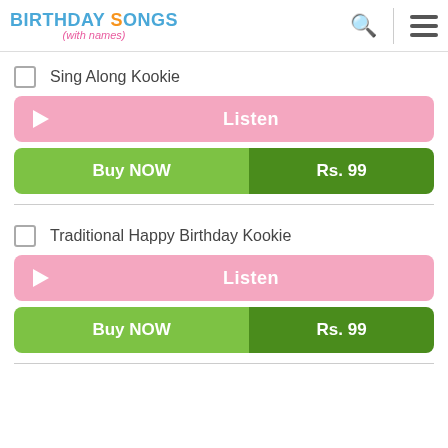BIRTHDAY SONGS (with names)
Sing Along Kookie
Listen
Buy NOW   Rs. 99
Traditional Happy Birthday Kookie
Listen
Buy NOW   Rs. 99